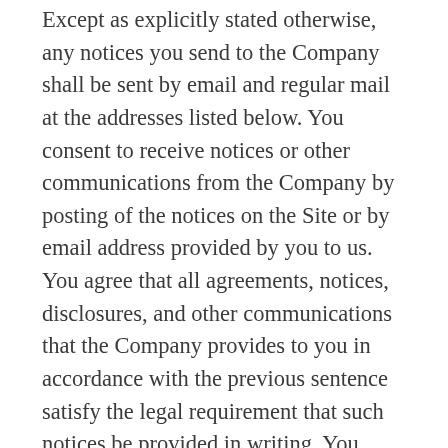Except as explicitly stated otherwise, any notices you send to the Company shall be sent by email and regular mail at the addresses listed below. You consent to receive notices or other communications from the Company by posting of the notices on the Site or by email address provided by you to us. You agree that all agreements, notices, disclosures, and other communications that the Company provides to you in accordance with the previous sentence satisfy the legal requirement that such notices be provided in writing. You agree that a printed version of this Agreement and/or any notice given in electronic form shall be admissible in judicial or administrative proceedings based upon or relating to this Agreement to the same extent and subject to the same conditions as other business documents and records originally generated and maintained in printed form.